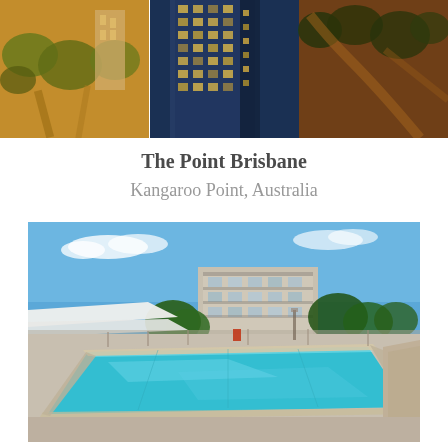[Figure (photo): Three aerial/exterior night and day photos of The Point Brisbane hotel building arranged side by side as a collage strip at top of page]
The Point Brisbane
Kangaroo Point, Australia
[Figure (photo): Exterior photo of The Point Brisbane hotel showing outdoor swimming pool in foreground with clear blue water, hotel building and modern architecture in background under blue sky]